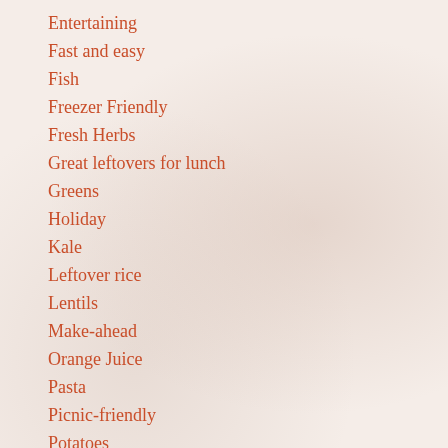Entertaining
Fast and easy
Fish
Freezer Friendly
Fresh Herbs
Great leftovers for lunch
Greens
Holiday
Kale
Leftover rice
Lentils
Make-ahead
Orange Juice
Pasta
Picnic-friendly
Potatoes